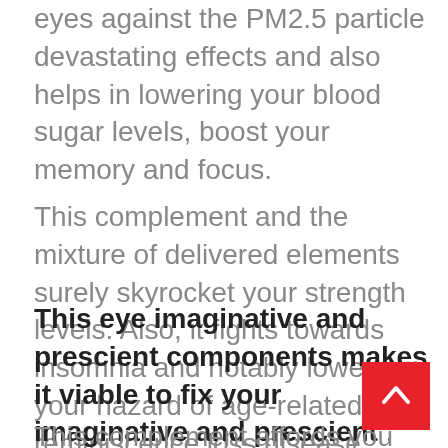eyes against the PM2.5 particle devastating effects and also helps in lowering your blood sugar levels, boost your memory and focus.
This complement and the mixture of delivered elements surely skyrocket your strength levels. Also, it fights towards insomnia and notably lowers your hazard of age-related reminiscence loss disease.
This eye imaginative and prescient components makes it viable to fix your imaginative and prescient . Once the PM2.5 particle enters your bloodstream that reasons irreversible injury to your eyes .
This complement affords you the key to